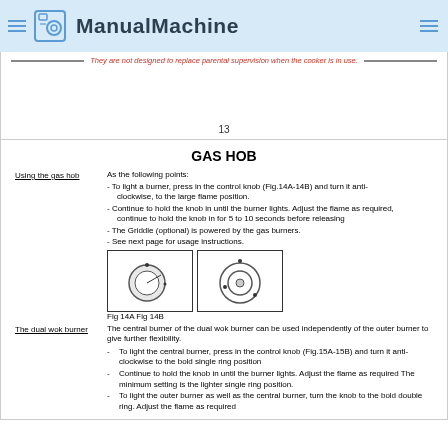ManualMachine
They are not designed to replace parental supervision when the cooker is in use.
13
GAS HOB
Using the gas hob
As the following points:
- To light a burner, press in the control knob (Fig.14A-14B) and turn it anti-clockwise, to the large flame position.
- Continue to hold the knob in until the burner lights. Adjust the flame as required, continue to hold the knob in for 5 to 10 seconds before releasing
- The Griddle (optional) is powered by the gas burners.
- See next page for usage instructions.
[Figure (engineering-diagram): Fig 14A: knob control diagram showing dial with indicator mark. Fig 14B: burner top-view diagram showing central ring with surrounding elements.]
Fig 14A Fig 14B
The dual wok burner
The central burner of the dual wok burner can be used independently of the outer burner to give further flexibility.
To light the central burner, press in the control knob (Fig.15A-15B) and turn it anti-clockwise to the bold single ring position
Continue to hold the knob in until the burner lights. Adjust the flame as required The minimum setting is the lighter single ring position.
To light the outer burner as well as the central burner, turn the knob to the bold double ring. Adjust the flame as required